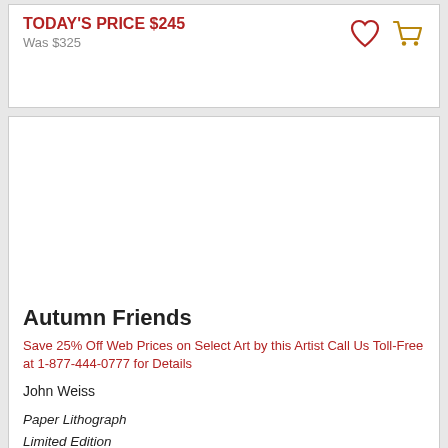TODAY'S PRICE $245
Was $325
[Figure (illustration): Heart icon (wishlist) and shopping cart icon in red and gold colors]
[Figure (photo): Artwork image placeholder for Autumn Friends by John Weiss]
Autumn Friends
Save 25% Off Web Prices on Select Art by this Artist Call Us Toll-Free at 1-877-444-0777 for Details
John Weiss
Paper Lithograph
Limited Edition
550 S/N
12 x 13
Price: $125